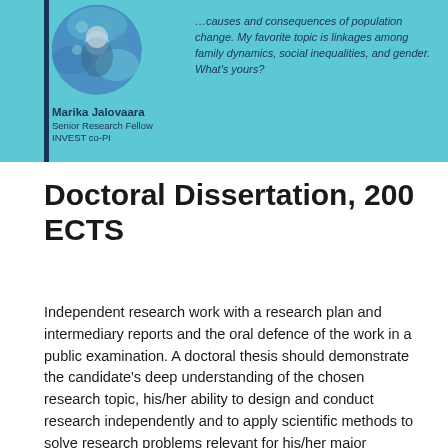[Figure (photo): Banner with light blue background showing a circular portrait photo of Marika Jalovaara with a decorative floral/wave pattern. Below the photo: name 'Marika Jalovaara', title 'Senior Research Fellow', role 'INVEST co-PI'. To the right of the photo is an italic quote about causes and consequences of population change, family dynamics, social inequalities, and gender.]
Doctoral Dissertation, 200 ECTS
Independent research work with a research plan and intermediary reports and the oral defence of the work in a public examination. A doctoral thesis should demonstrate the candidate's deep understanding of the chosen research topic, his/her ability to design and conduct research independently and to apply scientific methods to solve research problems relevant for his/her major subject.